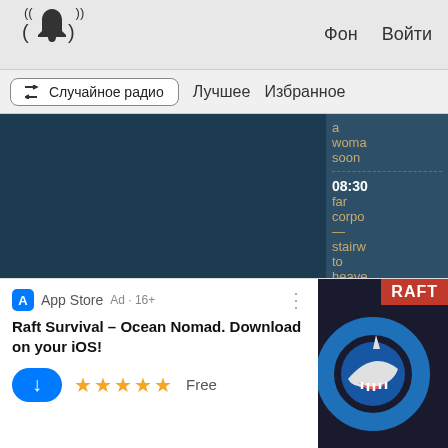((bell icon)) Фон Войти
⇌ Случайное радио   Лучшее   Избранное
[Figure (screenshot): Dark blue music player main screen with a dark sidebar showing timestamps 08:30 and 08:23 with text fragments: 'a woma soon', 'far corpo', '— stairw to heave', 'the cranb']
a woma soon
08:30
far corpo
—
stairw to heave
08:23
the cranb
[Figure (screenshot): App Store advertisement for Raft Survival Ocean Nomad iOS app showing app icon with shark, 5-star rating, Free label, and download button]
App Store  Ad · 16+
Raft Survival – Ocean Nomad. Download on your iOS!
★★★★★  Free